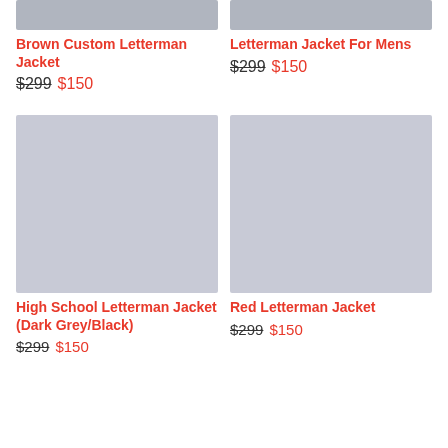[Figure (photo): Top portion of Brown Custom Letterman Jacket product image (grey/dark background)]
[Figure (photo): Top portion of Letterman Jacket For Mens product image (grey/dark background)]
Brown Custom Letterman Jacket
$299 $150
Letterman Jacket For Mens
$299 $150
[Figure (photo): High School Letterman Jacket (Dark Grey/Black) product image placeholder (light grey/lavender)]
[Figure (photo): Red Letterman Jacket product image placeholder (light grey/lavender)]
High School Letterman Jacket (Dark Grey/Black)
$299 $150
Red Letterman Jacket
$299 $150